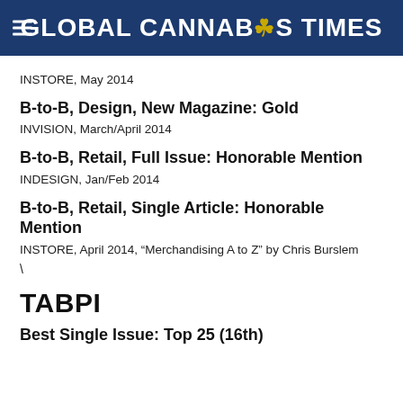GLOBAL CANNABIS TIMES
INSTORE, May 2014
B-to-B, Design, New Magazine: Gold
INVISION, March/April 2014
B-to-B, Retail, Full Issue: Honorable Mention
INDESIGN, Jan/Feb 2014
B-to-B, Retail, Single Article: Honorable Mention
INSTORE, April 2014, “Merchandising A to Z” by Chris Burslem
\
TABPI
Best Single Issue: Top 25 (16th)